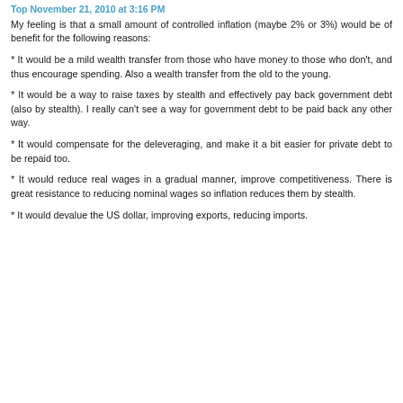Top November 21, 2010 at 3:16 PM
My feeling is that a small amount of controlled inflation (maybe 2% or 3%) would be of benefit for the following reasons:
* It would be a mild wealth transfer from those who have money to those who don't, and thus encourage spending. Also a wealth transfer from the old to the young.
* It would be a way to raise taxes by stealth and effectively pay back government debt (also by stealth). I really can't see a way for government debt to be paid back any other way.
* It would compensate for the deleveraging, and make it a bit easier for private debt to be repaid too.
* It would reduce real wages in a gradual manner, improve competitiveness. There is great resistance to reducing nominal wages so inflation reduces them by stealth.
* It would devalue the US dollar, improving exports, reducing imports.